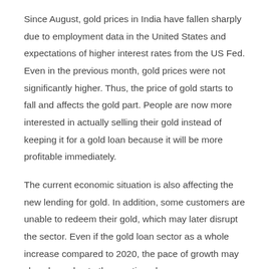Since August, gold prices in India have fallen sharply due to employment data in the United States and expectations of higher interest rates from the US Fed. Even in the previous month, gold prices were not significantly higher. Thus, the price of gold starts to fall and affects the gold part. People are now more interested in actually selling their gold instead of keeping it for a gold loan because it will be more profitable immediately.
The current economic situation is also affecting the new lending for gold. In addition, some customers are unable to redeem their gold, which may later disrupt the sector. Even if the gold loan sector as a whole increase compared to 2020, the pace of growth may slow down due to the mentioned reasons.
Example: Manappuram's business profit has declined